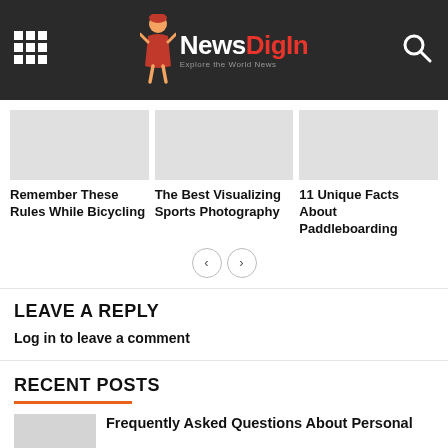NewsDigIn – Explore the World News
Remember These Rules While Bicycling
The Best Visualizing Sports Photography
11 Unique Facts About Paddleboarding
LEAVE A REPLY
Log in to leave a comment
RECENT POSTS
Frequently Asked Questions About Personal